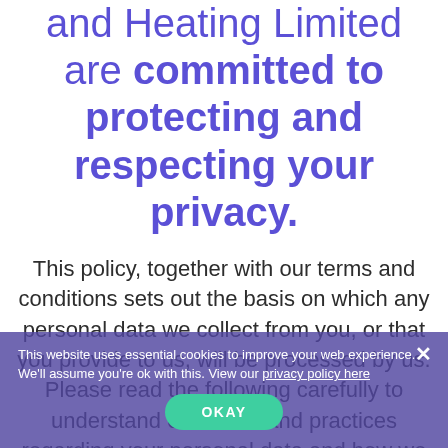and Heating Limited are committed to protecting and respecting your privacy.
This policy, together with our terms and conditions sets out the basis on which any personal data we collect from you, or that you provide to us, will be processed by us. Please read the following carefully to understand our views and practices regarding your personal data and how we will treat it. We keep certain basic information when you visit our website and recognise the importance of keeping that
This website uses essential cookies to improve your web experience. We'll assume you're ok with this. View our privacy policy here